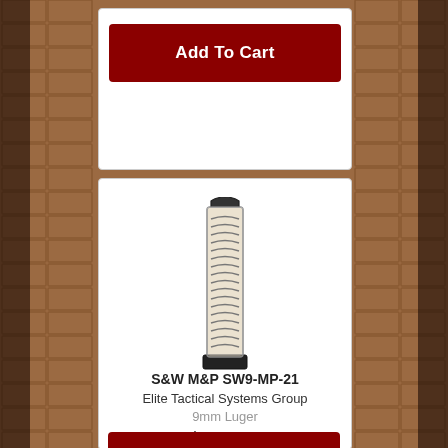[Figure (other): Red 'Add To Cart' button, dark red background with white bold text]
[Figure (photo): S&W M&P SW9-MP-21 transparent magazine with spring visible, black base and feed lips]
S&W M&P SW9-MP-21
Elite Tactical Systems Group
9mm Luger
$21.99
[Figure (other): Partial red 'Add To Cart' button at bottom of page]